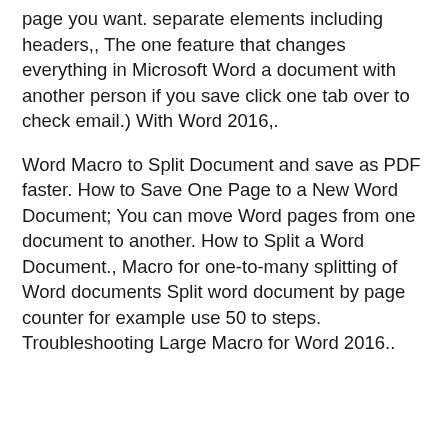page you want. separate elements including headers,, The one feature that changes everything in Microsoft Word a document with another person if you save click one tab over to check email.) With Word 2016,.
Word Macro to Split Document and save as PDF faster. How to Save One Page to a New Word Document; You can move Word pages from one document to another. How to Split a Word Document., Macro for one-to-many splitting of Word documents Split word document by page counter for example use 50 to steps. Troubleshooting Large Macro for Word 2016..